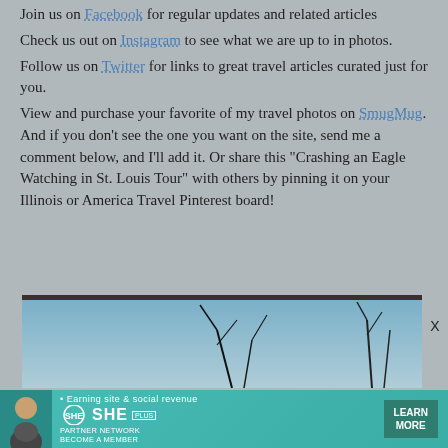Join us on Facebook for regular updates and related articles
Check us out on Instagram to see what we are up to in photos.
Follow us on Twitter for links to great travel articles curated just for you.
View and purchase your favorite of my travel photos on SmugMug. And if you don't see the one you want on the site, send me a comment below, and I'll add it. Or share this "Crashing an Eagle Watching in St. Louis Tour" with others by pinning it on your Illinois or America Travel Pinterest board!
[Figure (photo): Partial view of nature/bird-watching photo with dark branches against a light blue sky, partially obscured]
[Figure (infographic): SHE Media Partner Network advertisement banner: Earning site & social revenue, LEARN MORE button, woman pictured on left]